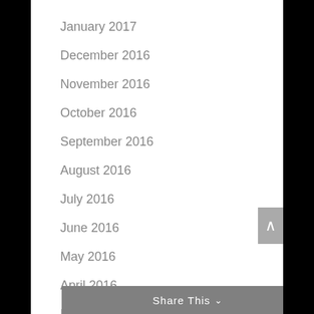January 2017
December 2016
November 2016
October 2016
September 2016
August 2016
July 2016
June 2016
May 2016
April 2016
March 2016
February 2016
Share This ∨  ✕